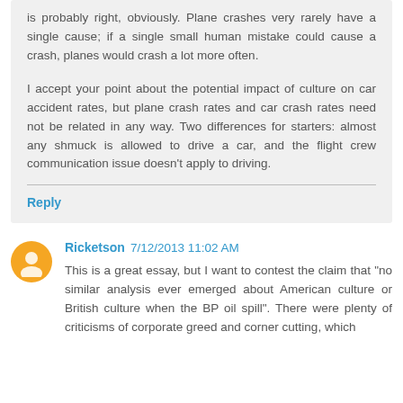is probably right, obviously. Plane crashes very rarely have a single cause; if a single small human mistake could cause a crash, planes would crash a lot more often.

I accept your point about the potential impact of culture on car accident rates, but plane crash rates and car crash rates need not be related in any way. Two differences for starters: almost any shmuck is allowed to drive a car, and the flight crew communication issue doesn't apply to driving.
Reply
Ricketson 7/12/2013 11:02 AM
This is a great essay, but I want to contest the claim that "no similar analysis ever emerged about American culture or British culture when the BP oil spill". There were plenty of criticisms of corporate greed and corner cutting, which